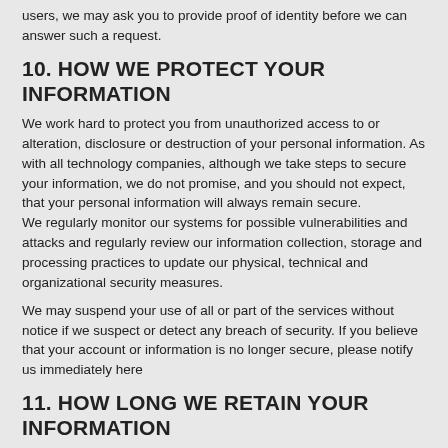users, we may ask you to provide proof of identity before we can answer such a request.
10. HOW WE PROTECT YOUR INFORMATION
We work hard to protect you from unauthorized access to or alteration, disclosure or destruction of your personal information. As with all technology companies, although we take steps to secure your information, we do not promise, and you should not expect, that your personal information will always remain secure.
We regularly monitor our systems for possible vulnerabilities and attacks and regularly review our information collection, storage and processing practices to update our physical, technical and organizational security measures.
We may suspend your use of all or part of the services without notice if we suspect or detect any breach of security. If you believe that your account or information is no longer secure, please notify us immediately here
11. HOW LONG WE RETAIN YOUR INFORMATION
We keep your personal information only as long as we need it for legitimate business purposes and as permitted by applicable law. To protect the safety and security of our users on and off our services, we implement a safety retention window of three months following account deletion. During this period, account information will be retained although the account will of course not be visible on the services anymore.